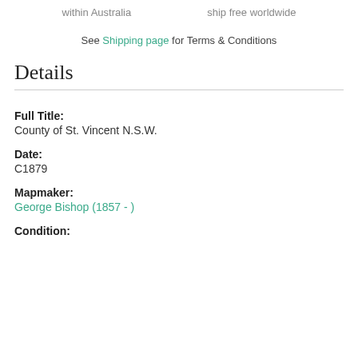within Australia
ship free worldwide
See Shipping page for Terms & Conditions
Details
Full Title:
County of St. Vincent N.S.W.
Date:
C1879
Mapmaker:
George Bishop (1857 - )
Condition: